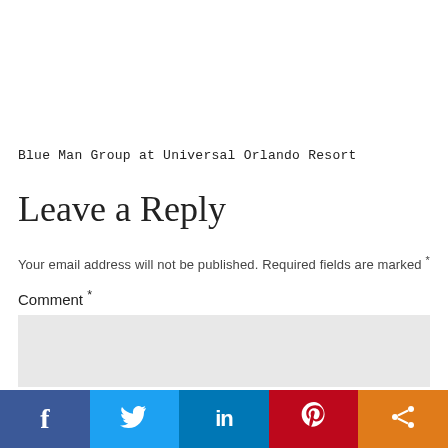Blue Man Group at Universal Orlando Resort
Leave a Reply
Your email address will not be published. Required fields are marked *
Comment *
[Figure (screenshot): Comment text area input box (empty, light gray background)]
[Figure (infographic): Social sharing bar with five buttons: Facebook (dark blue, f icon), Twitter (light blue, bird icon), LinkedIn (blue, in icon), Pinterest (red, P icon), Share (orange, share icon)]